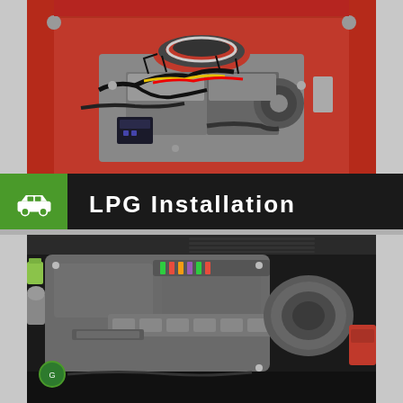[Figure (photo): Classic car engine bay with red paint, chrome air filter, black wiring harness, yellow and red wires, open hood view from above]
LPG Installation
[Figure (photo): Modern car engine bay with dark metallic engine cover, multi-colored fuel injector wires, silver intake manifold, modern engine components]